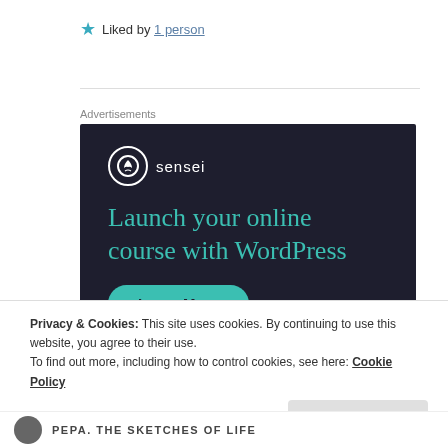★ Liked by 1 person
Advertisements
[Figure (screenshot): Sensei advertisement banner on dark background. Shows Sensei logo (tree icon in circle) with text 'sensei', headline 'Launch your online course with WordPress' in teal, and a 'Learn More' teal button.]
Privacy & Cookies: This site uses cookies. By continuing to use this website, you agree to their use.
To find out more, including how to control cookies, see here: Cookie Policy
Close and accept
PEPA. THE SKETCHES OF LIFE